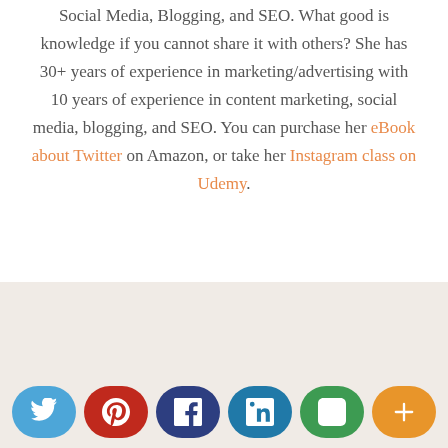Social Media, Blogging, and SEO. What good is knowledge if you cannot share it with others? She has 30+ years of experience in marketing/advertising with 10 years of experience in content marketing, social media, blogging, and SEO. You can purchase her eBook about Twitter on Amazon, or take her Instagram class on Udemy.
[Figure (infographic): Social share bar with buttons for Twitter, Pinterest, Facebook, LinkedIn, Goodreads, and More (+)]